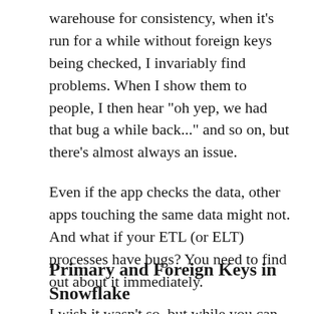warehouse for consistency, when it's run for a while without foreign keys being checked, I invariably find problems. When I show them to people, I then hear "oh yep, we had that bug a while back..." and so on, but there's almost always an issue.
Even if the app checks the data, other apps touching the same data might not. And what if your ETL (or ELT) processes have bugs? You need to find out about it immediately.
Primary and Foreign Keys in Snowflake
I wish it wasn't so, but while you can define